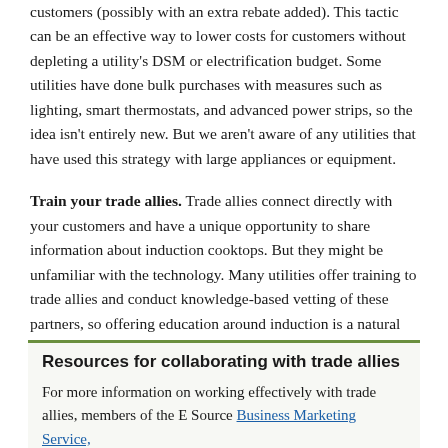customers (possibly with an extra rebate added). This tactic can be an effective way to lower costs for customers without depleting a utility's DSM or electrification budget. Some utilities have done bulk purchases with measures such as lighting, smart thermostats, and advanced power strips, so the idea isn't entirely new. But we aren't aware of any utilities that have used this strategy with large appliances or equipment.
Train your trade allies. Trade allies connect directly with your customers and have a unique opportunity to share information about induction cooktops. But they might be unfamiliar with the technology. Many utilities offer training to trade allies and conduct knowledge-based vetting of these partners, so offering education around induction is a natural next step.
Resources for collaborating with trade allies
For more information on working effectively with trade allies, members of the E Source Business Marketing Service,